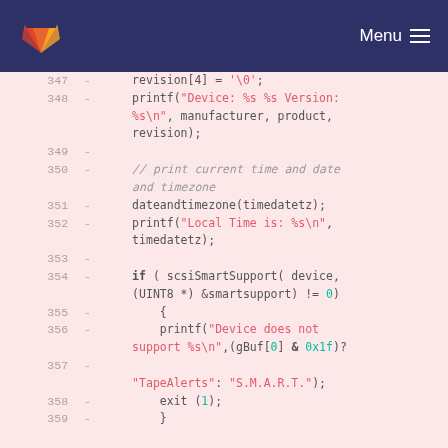[Figure (screenshot): GitLab navigation bar with fox logo and Menu hamburger icon on dark blue background]
Code diff view showing lines 347-359 of a C source file with removed lines (diff markers). Lines show: revision[4] = '\0';, printf("Device: %s %s Version: %s\n", manufacturer, product, revision);, empty line, // print current time and date and timezone, dateandtimezone(timedatetz);, printf("Local Time is: %s\n", timedatetz);, empty line, if ( scsiSmartSupport( device, (UINT8 *) &smartsupport) != 0), {, printf("Device does not support %s\n",(gBuf[0] & 0x1f)?, "TapeAlerts": "S.M.A.R.T.");, exit (1);, }